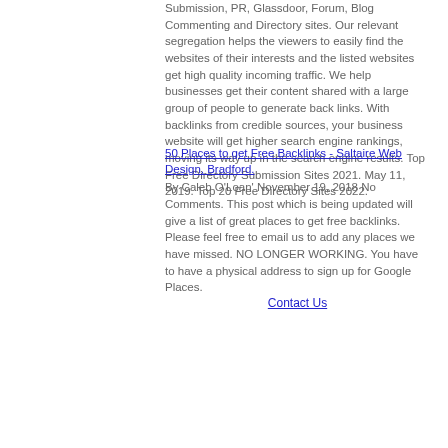Submission, PR, Glassdoor, Forum, Blog Commenting and Directory sites. Our relevant segregation helps the viewers to easily find the websites of their interests and the listed websites get high quality incoming traffic. We help businesses get their content shared with a large group of people to generate back links. With backlinks from credible sources, your business website will get higher search engine rankings, moving its way up in the search engine results. Top Free Directory Submission Sites 2021. May 11, 2019. Top 20 Free Directory Sites 2022.
50 Places to get Free Backlinks - Saltaire Web Design, Bradford.
By Caleb O'Loan' November 19, 2018 No Comments. This post which is being updated will give a list of great places to get free backlinks. Please feel free to email us to add any places we have missed. NO LONGER WORKING. You have to have a physical address to sign up for Google Places.
Contact Us